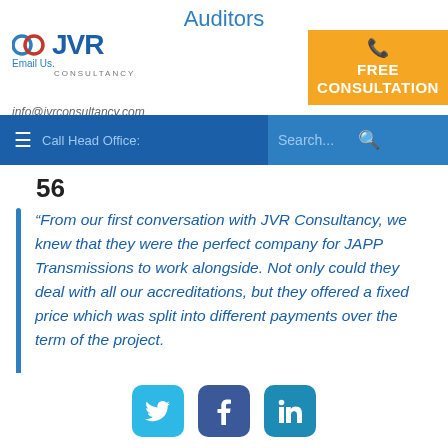Auditors
[Figure (logo): JVR Consultancy logo with blue circles and text, Email Us label]
[Figure (infographic): Orange FREE CONSULTATION button with headset icon]
info@jvrconsultancy.com
Call Head Office: | Search...
56
“From our first conversation with JVR Consultancy, we knew that they were the perfect company for JAPP Transmissions to work alongside. Not only could they deal with all our accreditations, but they offered a fixed price which was split into different payments over the term of the project. Their consultant was extraordinarily
[Figure (other): Social media icons: Twitter, Facebook, LinkedIn]